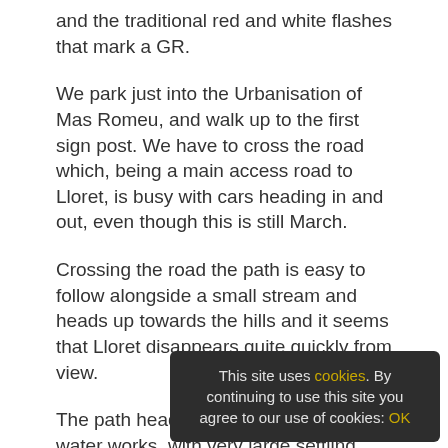and the traditional red and white flashes that mark a GR.
We park just into the Urbanisation of Mas Romeu, and walk up to the first sign post. We have to cross the road which, being a main access road to Lloret, is busy with cars heading in and out, even though this is still March.
Crossing the road the path is easy to follow alongside a small stream and heads up towards the hills and it seems that Lloret disappears quite quickly from view.
The path heads up past a very large water works, with very large settling tanks that are empty at the moment, waiting for the influx of summer. The faint smell of sewage isn't so nice, and it's not the best start to the walk.
After the waterworks the t
This site uses cookies. By continuing to use this site you agree to our use of cookies: OK